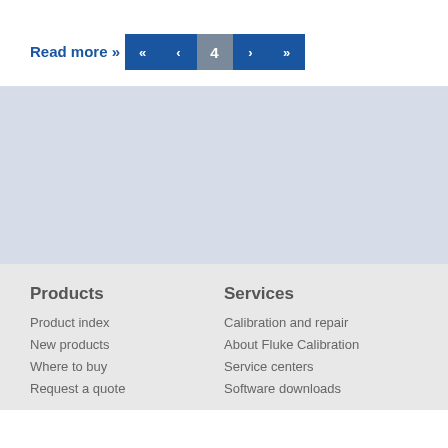Read more »
[Figure (other): Pagination control bar showing navigation buttons: «, <, 4 (active/current page), >, »]
[Figure (other): Light blue-grey empty content area / advertisement placeholder]
Products | Product index | New products | Where to buy | Request a quote | Services | Calibration and repair | About Fluke Calibration | Service centers | Software downloads